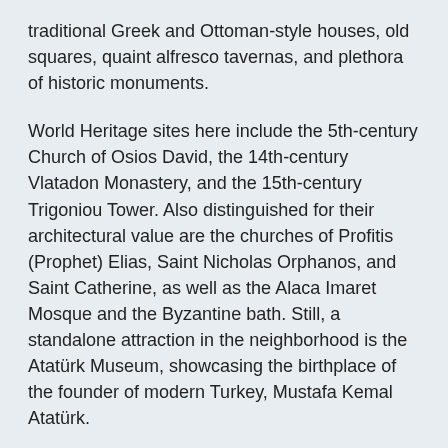traditional Greek and Ottoman-style houses, old squares, quaint alfresco tavernas, and plethora of historic monuments.
World Heritage sites here include the 5th-century Church of Osios David, the 14th-century Vlatadon Monastery, and the 15th-century Trigoniou Tower. Also distinguished for their architectural value are the churches of Profitis (Prophet) Elias, Saint Nicholas Orphanos, and Saint Catherine, as well as the Alaca Imaret Mosque and the Byzantine bath. Still, a standalone attraction in the neighborhood is the Atatürk Museum, showcasing the birthplace of the founder of modern Turkey, Mustafa Kemal Atatürk.
To see what else is Thessaloniki's Upper Town famous for and to explore these and other remnants of great civilizations in the city, take our self-guided walking tour and expand your horizons!